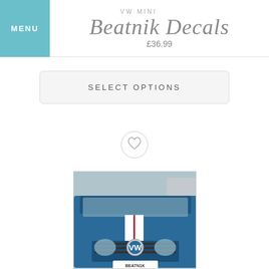MENU | VW Mini | Beatnik Decals | £36.99
SELECT OPTIONS
[Figure (illustration): Heart/wishlist icon inside a circular border]
[Figure (photo): Front view of a blue Volkswagen Transporter van with white and red racing stripes on the bonnet and a BEATNIK number plate]